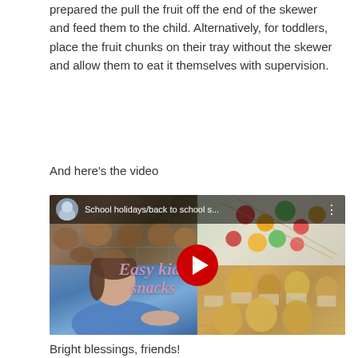prepared the pull the fruit off the end of the skewer and feed them to the child.  Alternatively, for toddlers, place the fruit chunks on their tray without the skewer and allow them to eat it themselves with supervision.
And here's the video
[Figure (screenshot): YouTube video thumbnail showing 'School holidays/back to school s...' with a woman in a blue floral top gesturing, muffins on cooling racks, and fruit kebabs. Overlaid text reads 'Easy kids snacks'. A red YouTube play button is centered.]
Bright blessings, friends!